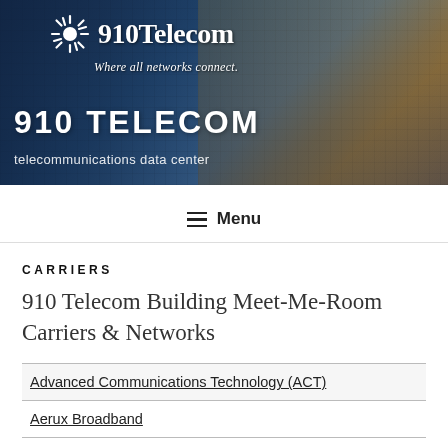[Figure (photo): 910 Telecom banner with a city building background illuminated with golden lights. Logo with sunburst icon at top, large '910 TELECOM' text and tagline 'telecommunications data center' overlaid on the image.]
910 Telecom
Where all networks connect.
910 TELECOM
telecommunications data center
≡ Menu
CARRIERS
910 Telecom Building Meet-Me-Room Carriers & Networks
Advanced Communications Technology (ACT)
Aerux Broadband